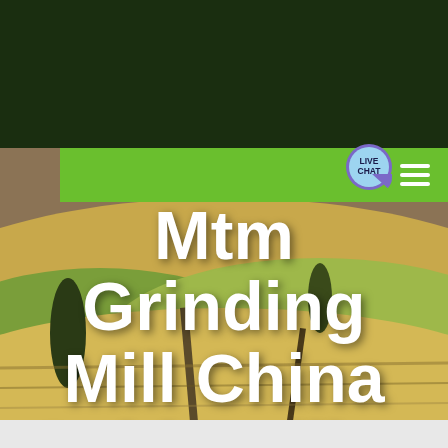[Figure (logo): GBM logo with mountain graphic and green GBM text on dark green background header]
[Figure (photo): Aerial view of rolling agricultural fields with warm green and golden tones, trees visible]
Mtm Grinding Mill China Cold Rolling Mill Technology